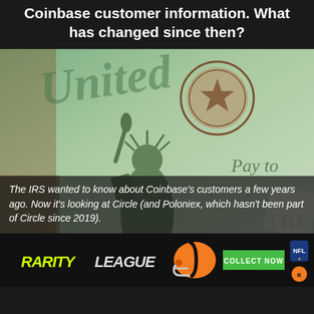Coinbase customer information. What has changed since then?
[Figure (photo): Close-up photo of a US Treasury check showing the Statue of Liberty engraving and 'Pay to' text on green paper]
The IRS wanted to know about Coinbase's customers a few years ago. Now it's looking at Circle (and Poloniex, which hasn't been part of Circle since 2019).
[Figure (other): Advertisement banner for Rarity League NFL collectibles with football helmet graphic, 'COLLECT NOW' button, NFL logo, and Cincinnati Bengals logo]